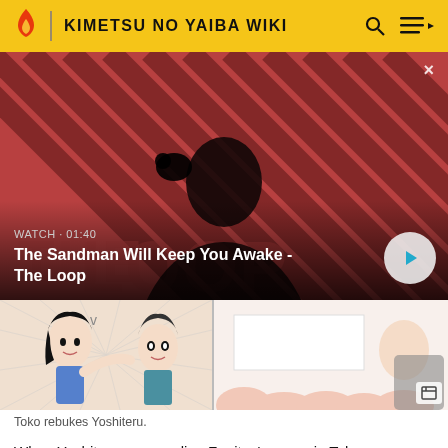KIMETSU NO YAIBA WIKI
[Figure (screenshot): Video thumbnail showing a dark-clad figure with a crow on shoulder against a red diagonal-striped background. Text overlay: WATCH · 01:40. Title: The Sandman Will Keep You Awake - The Loop. Play button visible bottom right.]
[Figure (illustration): Two manga panels side by side: left panel shows a female character scolding a male character, right panel shows a partially obscured character.]
Toko rebukes Yoshiteru.
When Yoshiteru was reading Zenitsu's memoir, Toko